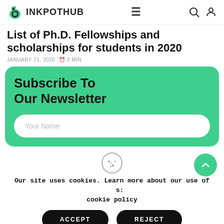INKPOTHUB
List of Ph.D. Fellowships and scholarships for students in 2020
JANUARY 21, 2020   3 MIN
[Figure (other): Newsletter subscription card with green background, heading 'Subscribe To Our Newsletter' and a 'Your Name' input field]
[Figure (other): Cookie consent banner with cookie icon, scroll-to-top button, text and Accept/Reject buttons]